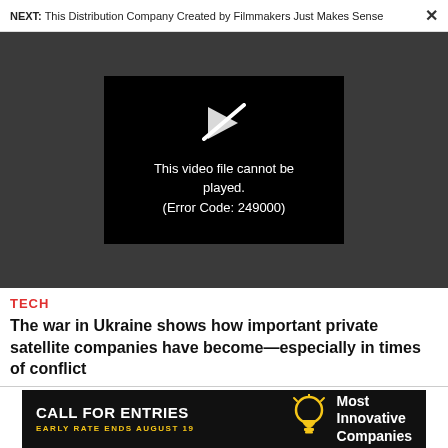NEXT: This Distribution Company Created by Filmmakers Just Makes Sense ×
[Figure (screenshot): Video player showing error message: 'This video file cannot be played. (Error Code: 249000)' on black background, embedded in dark gray player area.]
TECH
The war in Ukraine shows how important private satellite companies have become—especially in times of conflict
NEWS
[Figure (infographic): Advertisement banner: CALL FOR ENTRIES / EARLY RATE ENDS AUGUST 19 with lightbulb icon and 'Most Innovative Companies' text on black background.]